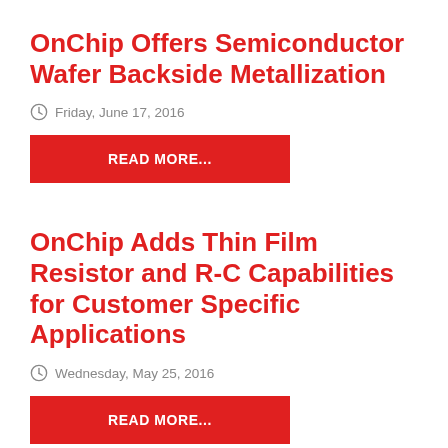OnChip Offers Semiconductor Wafer Backside Metallization
Friday, June 17, 2016
READ MORE...
OnChip Adds Thin Film Resistor and R-C Capabilities for Customer Specific Applications
Wednesday, May 25, 2016
READ MORE...